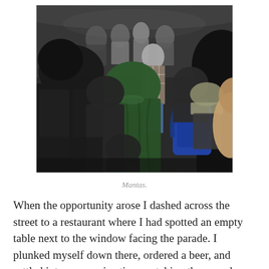[Figure (photo): A crowded outdoor scene with many people packed together, viewed from behind, in what appears to be a busy market or street event. A person in a green sweater is prominent in the center, and someone with a blue backpack is visible. The crowd extends into the background.]
Mantas.
When the opportunity arose I dashed across the street to a restaurant where I had spotted an empty table next to the window facing the parade. I plunked myself down there, ordered a beer, and settled into a very nice time watching the crowd go by. It was one of the